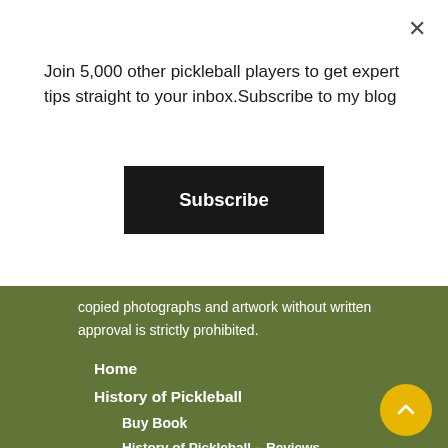Join 5,000 other pickleball players to get expert tips straight to your inbox.Subscribe to my blog
Subscribe
copied photographs and artwork without written approval is strictly prohibited.
Home
History of Pickleball
Buy Book
History of Pickleball – Reviews
History of Pickleball – Timeline
Request History of Pickleball Presentation
Jennifer’s Blog